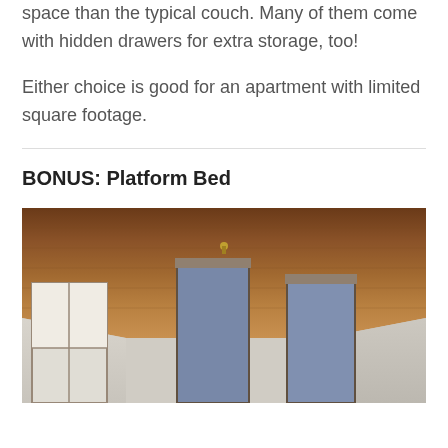space than the typical couch. Many of them come with hidden drawers for extra storage, too!
Either choice is good for an apartment with limited square footage.
BONUS: Platform Bed
[Figure (photo): Interior room photo showing a wooden ceiling, white brick walls, a window on the left side with a shade, a doorway in the center-left area, and a window on the right side.]